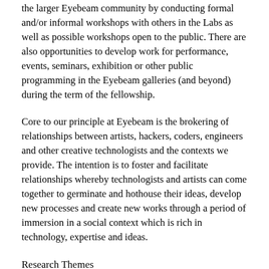the larger Eyebeam community by conducting formal and/or informal workshops with others in the Labs as well as possible workshops open to the public. There are also opportunities to develop work for performance, events, seminars, exhibition or other public programming in the Eyebeam galleries (and beyond) during the term of the fellowship.
Core to our principle at Eyebeam is the brokering of relationships between artists, hackers, coders, engineers and other creative technologists and the contexts we provide. The intention is to foster and facilitate relationships whereby technologists and artists can come together to germinate and hothouse their ideas, develop new processes and create new works through a period of immersion in a social context which is rich in technology, expertise and ideas.
Research Themes
We also support research groups to bring together creative practitioners working at Eyebeam as well as expert external participants. New research leads to possible public outcomes including seminars, public discussion and exhibition.